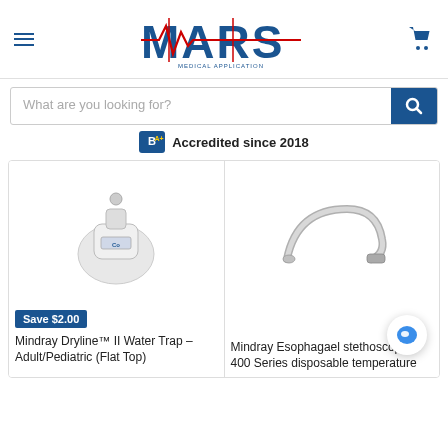[Figure (logo): MARS Medical Application Repair & Sales logo with red ECG heartbeat line through lettering]
What are you looking for?
Accredited since 2018
[Figure (photo): Mindray Dryline II Water Trap - Adult/Pediatric (Flat Top) medical device, white plastic]
Save $2.00
Mindray Dryline™ II Water Trap – Adult/Pediatric (Flat Top)
[Figure (photo): Mindray Esophagael stethoscope, 400 Series disposable temperature probe, white tubing]
Mindray Esophagael stethoscope, 400 Series disposable temperature